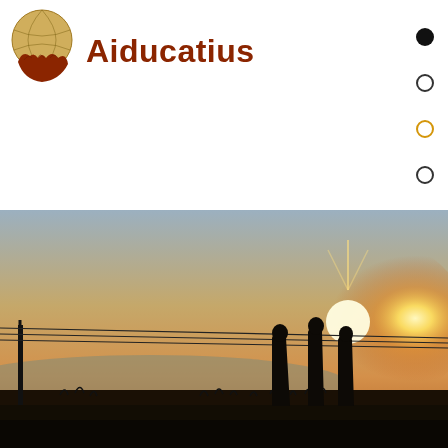[Figure (logo): Aiducatius logo — globe with red hands cradling it, beside the text 'Aiducatius' in dark red/maroon serif-style bold font]
Home   Project
[Figure (photo): Silhouette photo of three people standing against a sunset sky with power lines overhead and sparse vegetation in the background. Warm golden and orange tones.]